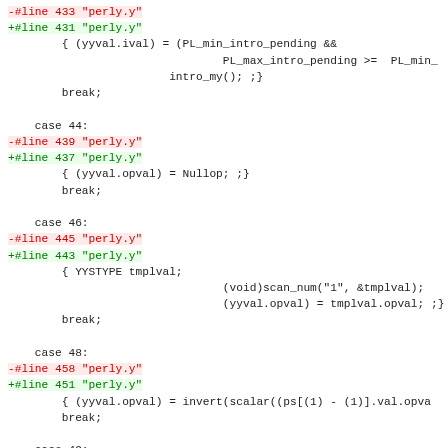Code diff showing changes to perly.y parser file, cases 44, 46, 48, 49 with line number annotations removed/added.